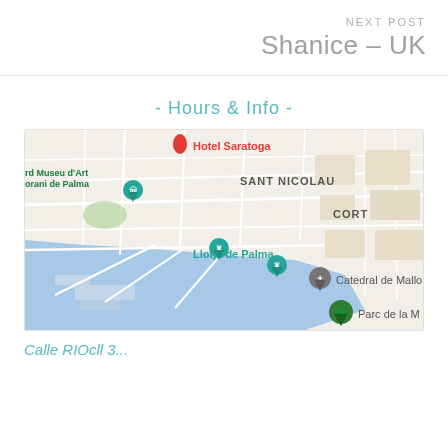NEXT POST
Shanice – UK
- Hours & Info -
[Figure (map): Google Maps view of Palma de Mallorca showing landmarks: Hotel Saratoga, rd Museu d'Art orani de Palma, SANT NICOLAU, CORT, Llotja de Palma, Catedral de Mallorca, Parc de la M. Blue water (port/bay) visible at bottom left.]
Calle RIOcll 3...